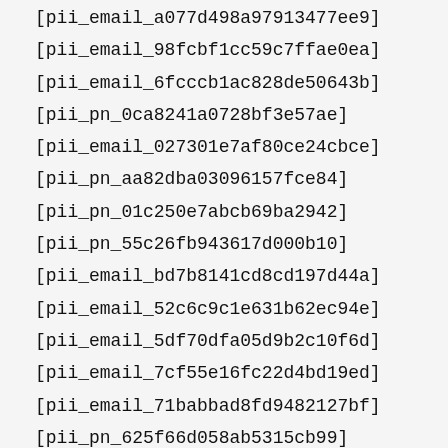[pii_email_a077d498a97913477ee9]
[pii_email_98fcbf1cc59c7ffae0ea]
[pii_email_6fcccb1ac828de50643b]
[pii_pn_0ca8241a0728bf3e57ae]
[pii_email_027301e7af80ce24cbce]
[pii_pn_aa82dba03096157fce84]
[pii_pn_01c250e7abcb69ba2942]
[pii_pn_55c26fb943617d000b10]
[pii_email_bd7b8141cd8cd197d44a]
[pii_email_52c6c9c1e631b62ec94e]
[pii_email_5df70dfa05d9b2c10f6d]
[pii_email_7cf55e16fc22d4bd19ed]
[pii_email_71babbad8fd9482127bf]
[pii_pn_625f66d058ab5315cb99]
[pii_email_d35cf50bc33475...]